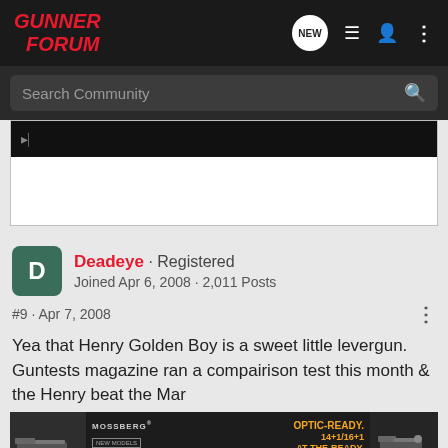GUNNER FORUM
Search Community
[Figure (screenshot): Partially visible embedded media block with black top bar and white content area below]
Deadeye · Registered
Joined Apr 6, 2008 · 2,011 Posts
#9 · Apr 7, 2008
Yea that Henry Golden Boy is a sweet little levergun. Guntests magazine ran a compairison test this month & the Henry beat the Mar
[Figure (photo): Mossberg advertisement: OPTIC-READY. 14+1/16+1 AT-THE-READY. MC2c NEW MODELS LEARN MORE]